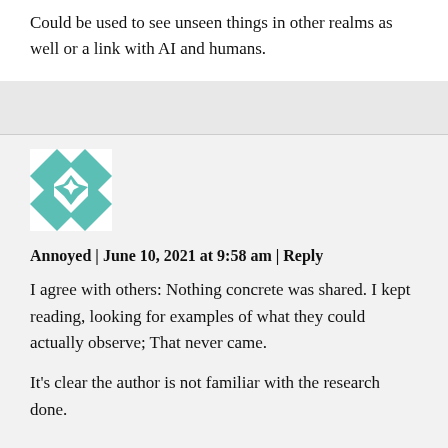Could be used to see unseen things in other realms as well or a link with AI and humans.
[Figure (illustration): Teal and white geometric quilt-pattern avatar icon for user 'Annoyed']
Annoyed | June 10, 2021 at 9:58 am | Reply
I agree with others: Nothing concrete was shared. I kept reading, looking for examples of what they could actually observe; That never came.

It's clear the author is not familiar with the research done.